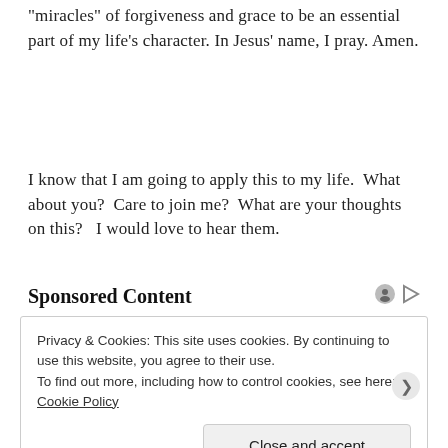“miracles” of forgiveness and grace to be an essential part of my life’s character. In Jesus’ name, I pray. Amen.
I know that I am going to apply this to my life.  What about you?  Care to join me?  What are your thoughts on this?   I would love to hear them.
Sponsored Content
Privacy & Cookies: This site uses cookies. By continuing to use this website, you agree to their use.
To find out more, including how to control cookies, see here: Cookie Policy
Close and accept